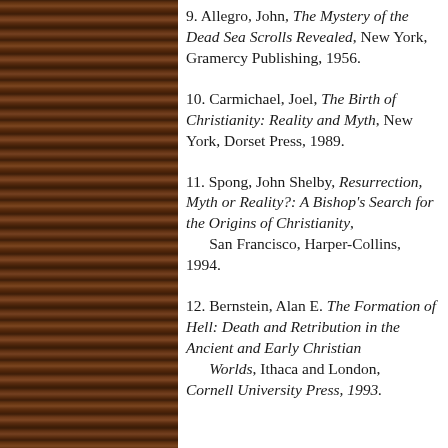9. Allegro, John, The Mystery of the Dead Sea Scrolls Revealed, New York, Gramercy Publishing, 1956.
10. Carmichael, Joel, The Birth of Christianity: Reality and Myth, New York, Dorset Press, 1989.
11. Spong, John Shelby, Resurrection, Myth or Reality?: A Bishop's Search for the Origins of Christianity, San Francisco, Harper-Collins, 1994.
12. Bernstein, Alan E. The Formation of Hell: Death and Retribution in the Ancient and Early Christian Worlds, Ithaca and London, Cornell University Press, 1993.